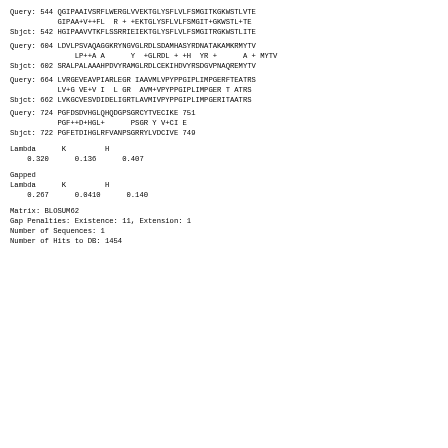Query: 544 QGIPAAIVSRFLWERGLVVEKTGLYSFLVLFSMGITKGKWSTLVTE
            GIPAA+V++FL  R + +EKTGLYSFLVLFSMGIT+GKWSTL+TE
Sbjct: 542 HGIPAAVVTKFLSSRRIEIEKTGLYSFLVLFSMGITRGKWSTLITE
Query: 604 LDVLPSVAQAGGKRYNGVGLRDLSDAMHASYRDNATAKAMKRMYTV
                LP++A A      Y  +GLRDL + +H  YR +      A + MYTV
Sbjct: 602 SRALPALAAAHPDVYRAMGLRDLCEKIHDVYRSDGVPNAQREMYTV
Query: 664 LVRGEVEAVPIARLEGR IAAVMLVPYPPGIPLIMPGERFTEATRS
            LV+G VE+V I  L GR  AVM+VPYPPGIPLIMPGER T ATRS
Sbjct: 662 LVKGCVESVDIDELIGRTLAVMIVPYPPGIPLIMPGERITAATRS
Query: 724 PGFDSDVHGLQHQDGPSGRCYTVECIKE 751
            PGF++D+HGL+      PSGR Y V+CI E
Sbjct: 722 PGFETDIHGLRFVANPSGRRYLVDCIVE 749
Lambda      K         H
    0.320      0.136      0.407
Gapped
Lambda      K         H
    0.267      0.0410      0.140
Matrix: BLOSUM62
Gap Penalties: Existence: 11, Extension: 1
Number of Sequences: 1
Number of Hits to DB: 1454